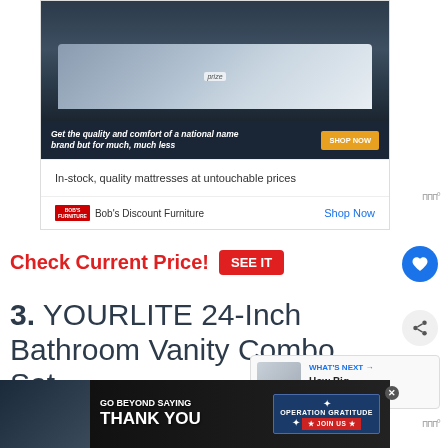[Figure (screenshot): Advertisement for Bob's Discount Furniture showing a mattress on a bed in a dark bedroom, with banner text 'Get the quality and comfort of a national name brand but for much, much less' and a SHOP NOW button. Footer shows Bob's logo and Shop Now link. Description text: 'In-stock, quality mattresses at untouchable prices']
Check Current Price!
SEE IT
3. YOURLITE 24-Inch Bathroom Vanity Combo Set
[Figure (screenshot): Bottom advertisement for Operation Gratitude: 'GO BEYOND SAYING THANK YOU' with JOIN US button]
WHAT'S NEXT → How Big Should a...